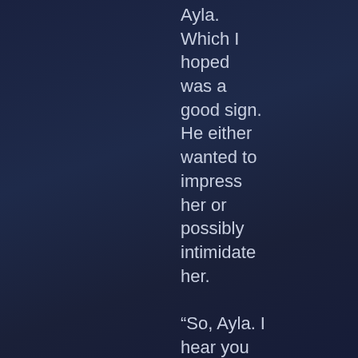Ayla. Which I hoped was a good sign. He either wanted to impress her or possibly intimidate her.

“So, Ayla. I hear you two are a bit of a couple now. Where did you two meet?”